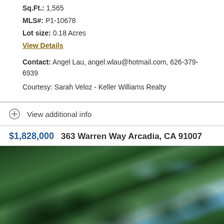Sq.Ft.: 1,565
MLS#: P1-10678
Lot size: 0.18 Acres
View Details
Contact: Angel Lau, angel.wlau@hotmail.com, 626-379-6939
Courtesy: Sarah Veloz - Keller Williams Realty
View additional info
$1,828,000   363 Warren Way Arcadia, CA 91007
[Figure (photo): Exterior photo of property at 363 Warren Way Arcadia, CA 91007, showing tree canopy with blue sky visible through branches]